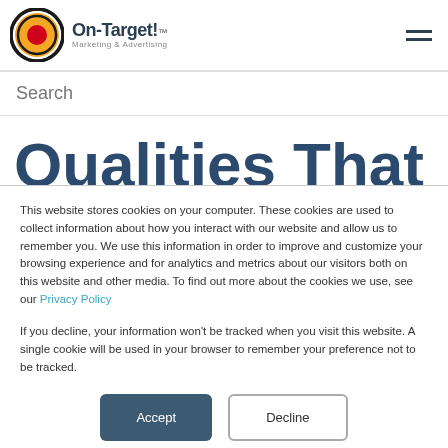[Figure (logo): On-Target! Marketing & Advertising logo with bullseye icon]
Search
Qualities That
This website stores cookies on your computer. These cookies are used to collect information about how you interact with our website and allow us to remember you. We use this information in order to improve and customize your browsing experience and for analytics and metrics about our visitors both on this website and other media. To find out more about the cookies we use, see our Privacy Policy
If you decline, your information won't be tracked when you visit this website. A single cookie will be used in your browser to remember your preference not to be tracked.